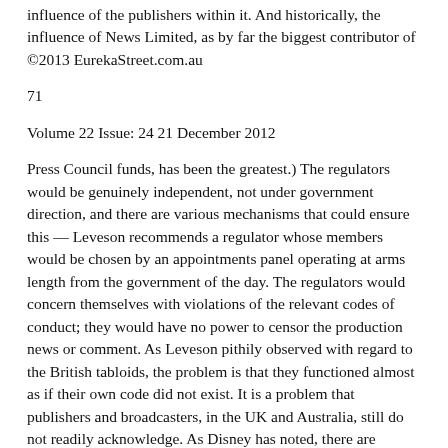influence of the publishers within it. And historically, the influence of News Limited, as by far the biggest contributor of ©2013 EurekaStreet.com.au
71
Volume 22 Issue: 24 21 December 2012
Press Council funds, has been the greatest.) The regulators would be genuinely independent, not under government direction, and there are various mechanisms that could ensure this — Leveson recommends a regulator whose members would be chosen by an appointments panel operating at arms length from the government of the day. The regulators would concern themselves with violations of the relevant codes of conduct; they would have no power to censor the production news or comment. As Leveson pithily observed with regard to the British tabloids, the problem is that they functioned almost as if their own code did not exist. It is a problem that publishers and broadcasters, in the UK and Australia, still do not readily acknowledge. As Disney has noted, there are crucial differences between the two sets of recommendations. Finkelstein proposed that the regulator should have statutory powers of investigation; Leveson does